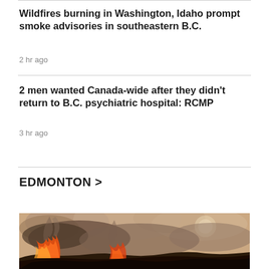Wildfires burning in Washington, Idaho prompt smoke advisories in southeastern B.C.
2 hr ago
2 men wanted Canada-wide after they didn't return to B.C. psychiatric hospital: RCMP
3 hr ago
EDMONTON >
[Figure (photo): Wildfire photo showing large flames and heavy smoke billowing into a hazy sky]